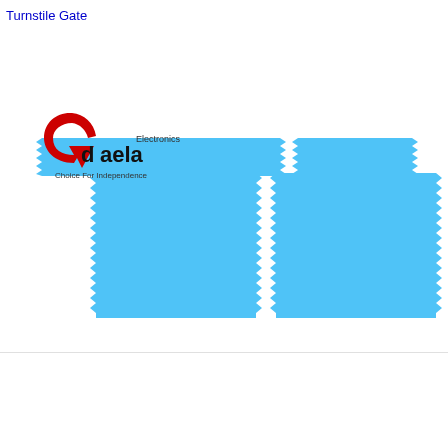Turnstile Gate
[Figure (schematic): Turnstile gate schematic diagram showing a T-shaped blue gate structure with jagged/serrated edges on the vertical panels and horizontal bar. A Daela Electronics logo (Choice For Independence) with a red spiral arrow icon is overlaid on the left side of the diagram.]